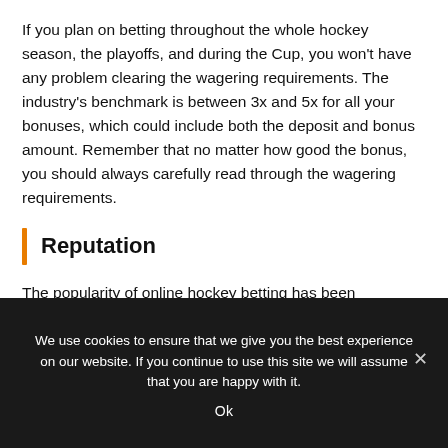If you plan on betting throughout the whole hockey season, the playoffs, and during the Cup, you won't have any problem clearing the wagering requirements. The industry's benchmark is between 3x and 5x for all your bonuses, which could include both the deposit and bonus amount. Remember that no matter how good the bonus, you should always carefully read through the wagering requirements.
Reputation
The popularity of online hockey betting has been improving at a good pace year in and year out, and no stop is in sight. This has encouraged most sportsbooks out there to open dedicated NHL
We use cookies to ensure that we give you the best experience on our website. If you continue to use this site we will assume that you are happy with it.
Ok